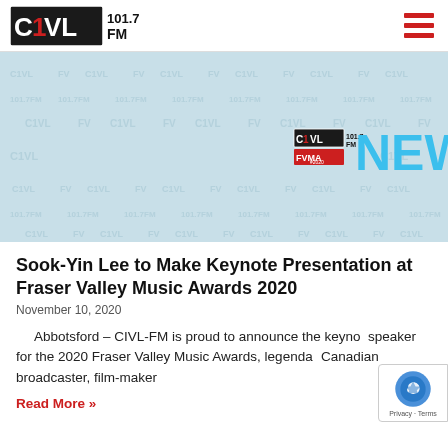CIVL 101.7 FM
[Figure (photo): CIVL 101.7 FM and FVMA News banner with repeating watermark logos on light blue background, centered NEWS text in cyan]
Sook-Yin Lee to Make Keynote Presentation at Fraser Valley Music Awards 2020
November 10, 2020
Abbotsford – CIVL-FM is proud to announce the keynote speaker for the 2020 Fraser Valley Music Awards, legendary Canadian broadcaster, film-maker
Read More »